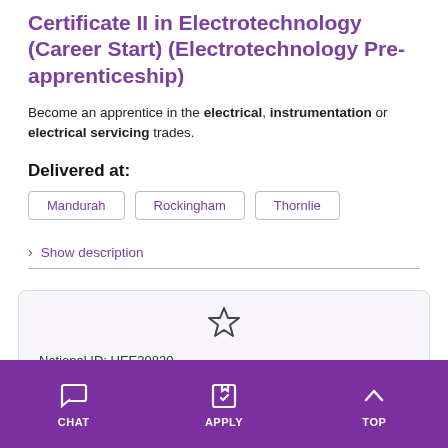Certificate II in Electrotechnology (Career Start) (Electrotechnology Pre-apprenticeship)
Become an apprentice in the electrical, instrumentation or electrical servicing trades.
Delivered at:
Mandurah
Rockingham
Thornlie
> Show description
National ID: UEE30820
State ID: BENO
CHAT   APPLY   TOP